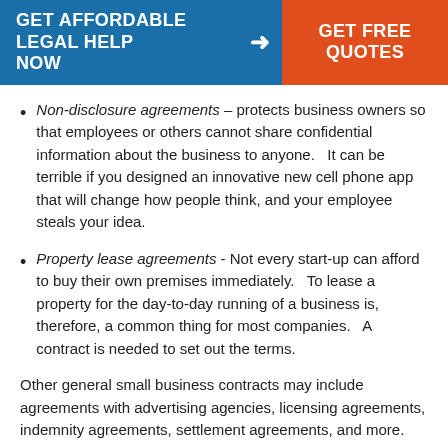GET AFFORDABLE LEGAL HELP NOW → GET FREE QUOTES
Non-disclosure agreements – protects business owners so that employees or others cannot share confidential information about the business to anyone.   It can be terrible if you designed an innovative new cell phone app that will change how people think, and your employee steals your idea.
Property lease agreements - Not every start-up can afford to buy their own premises immediately.   To lease a property for the day-to-day running of a business is, therefore, a common thing for most companies.   A contract is needed to set out the terms.
Other general small business contracts may include agreements with advertising agencies, licensing agreements, indemnity agreements, settlement agreements, and more.